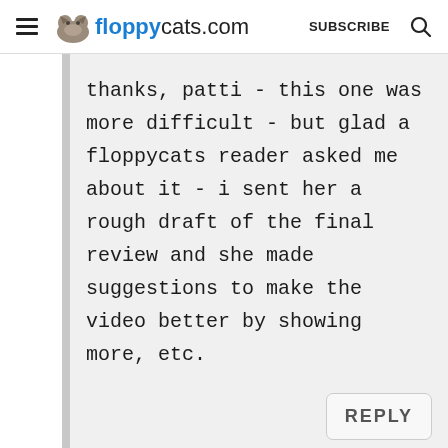floppycats.com  SUBSCRIBE
thanks, patti - this one was more difficult - but glad a floppycats reader asked me about it - i sent her a rough draft of the final review and she made suggestions to make the video better by showing more, etc.